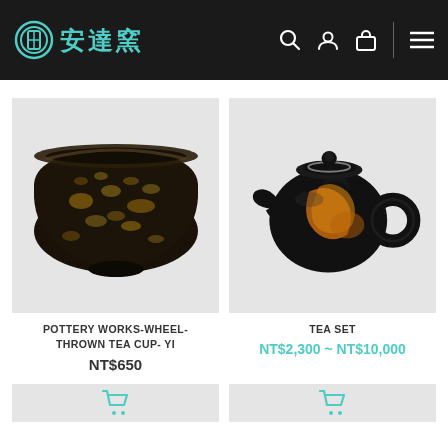安達窯 (logo and navigation header)
[Figure (photo): A dark glazed ceramic tea bowl with golden-brown mottled pattern, wheel-thrown, on light grey background]
POTTERY WORKS-WHEEL-THROWN TEA CUP- YI
NT$650
[Figure (photo): A dark ceramic teapot with orange/amber drip glaze pattern and circular handle, on light grey background]
TEA SET
NT$2,300 ~ NT$10,000
[Figure (other): Cart icon teal/cyan color on grey background]
[Figure (other): Cart icon teal/cyan color on grey background]